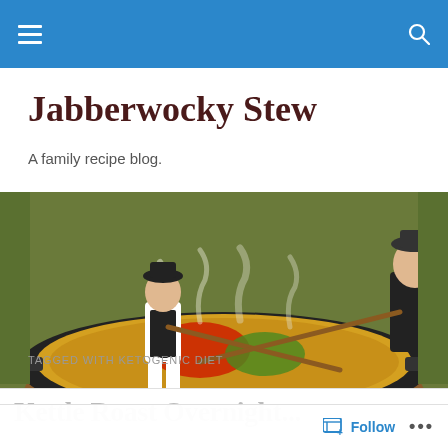Navigation bar with menu and search icons
Jabberwocky Stew
A family recipe blog.
[Figure (photo): Large outdoor paella pan being stirred by cooks over an open fire, with steam rising, containing colorful ingredients.]
TAGGED WITH KETOGENIC DIET
Kettle Roast Overnight...
Follow   ...